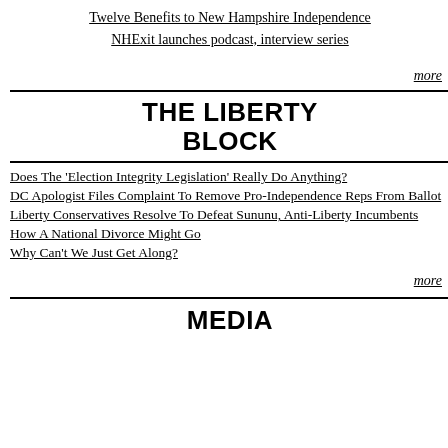Twelve Benefits to New Hampshire Independence
NHExit launches podcast, interview series
more
THE LIBERTY BLOCK
Does The 'Election Integrity Legislation' Really Do Anything?
DC Apologist Files Complaint To Remove Pro-Independence Reps From Ballot
Liberty Conservatives Resolve To Defeat Sununu, Anti-Liberty Incumbents
How A National Divorce Might Go
Why Can't We Just Get Along?
more
MEDIA
| Support | HB1035 relative to exemptions from school vaccine mandates. | He
Ser
Elo |